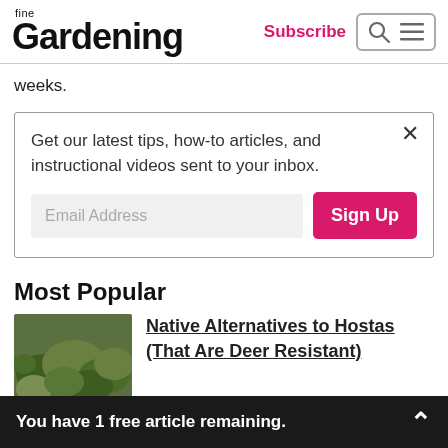fine Gardening | Subscribe
weeks.
Get our latest tips, how-to articles, and instructional videos sent to your inbox.
Email Address | Sign Up
Most Popular
Native Alternatives to Hostas (That Are Deer Resistant)
You have 1 free article remaining.